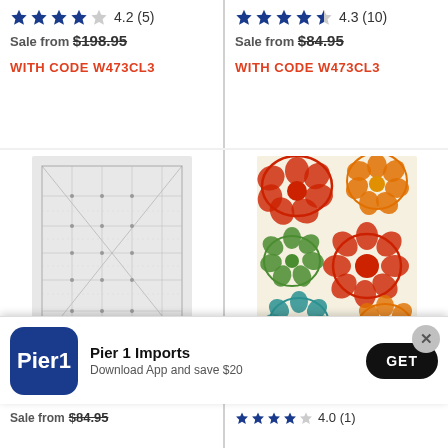4.2 (5) Sale from $198.95 WITH CODE W473CL3
4.3 (10) Sale from $84.95 WITH CODE W473CL3
[Figure (photo): Gray geometric patterned area rug with SAVE $16.99 badge]
[Figure (photo): Colorful floral area rug with orange, red, green, teal flowers with SAVE $63.39 badge]
Pier 1 Imports - Download App and save $20 - GET
4.0 (1)